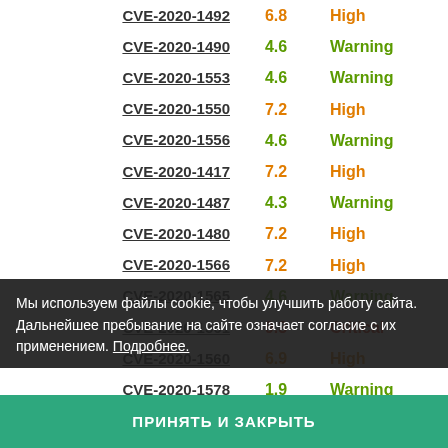| CVE | Score | Severity |
| --- | --- | --- |
| CVE-2020-1492 | 6.8 | High |
| CVE-2020-1490 | 4.6 | Warning |
| CVE-2020-1553 | 4.6 | Warning |
| CVE-2020-1550 | 7.2 | High |
| CVE-2020-1556 | 4.6 | Warning |
| CVE-2020-1417 | 7.2 | High |
| CVE-2020-1487 | 4.3 | Warning |
| CVE-2020-1480 | 7.2 | High |
| CVE-2020-1566 | 7.2 | High |
| CVE-2020-1565 | 4.6 | Warning |
| CVE-2020-1561 | 9.3 | Critical |
| CVE-2020-1560 | 6.9 | High |
| CVE-2020-1578 | 1.9 | Warning |
| CVE-2020-1571 | 7.2 | High |
| CVE-2020-1574 | 6.9 | High |
| CVE-2020-1585 | 6.8 | High |
| CVE-2020-1509 | 6.5 | High |
| CVE-2020-1459 | 3.1 | Warning |
| CVE-2020-1540 |  |  |
Мы используем файлы cookie, чтобы улучшить работу сайта. Дальнейшее пребывание на сайте означает согласие с их применением. Подробнее.
ПРИНЯТЬ И ЗАКРЫТЬ